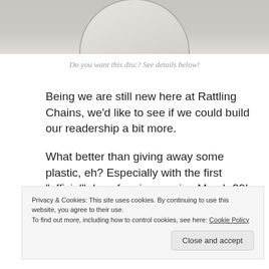[Figure (photo): Cropped photo of a disc golf disc, showing the top/rim against a grey background]
Do you want this disc? See details below!
Being we are still new here at Rattling Chains, we'd like to see if we could build our readership a bit more.
What better than giving away some plastic, eh? Especially with the first “official” day of spring coming March 20!
Privacy & Cookies: This site uses cookies. By continuing to use this website, you agree to their use.
To find out more, including how to control cookies, see here: Cookie Policy
Close and accept